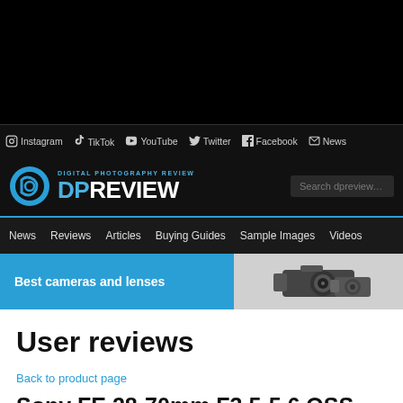[Figure (screenshot): Black top area of dpreview.com website]
Instagram  TikTok  YouTube  Twitter  Facebook  News
[Figure (logo): DPReview (Digital Photography Review) logo with search box]
News  Reviews  Articles  Buying Guides  Sample Images  Videos
[Figure (illustration): Best cameras and lenses banner with camera image]
User reviews
Back to product page
Sony FE 28-70mm F3.5-5.6 OSS
User reviews